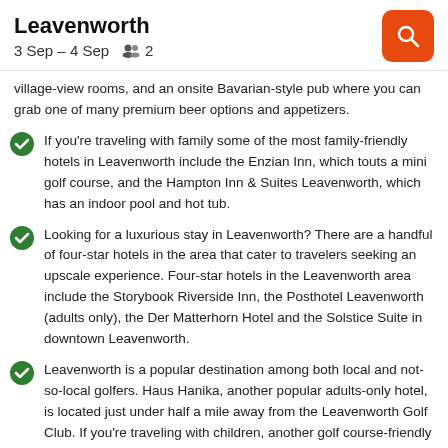Leavenworth
3 Sep – 4 Sep   2
village-view rooms, and an onsite Bavarian-style pub where you can grab one of many premium beer options and appetizers.
If you're traveling with family some of the most family-friendly hotels in Leavenworth include the Enzian Inn, which touts a mini golf course, and the Hampton Inn & Suites Leavenworth, which has an indoor pool and hot tub.
Looking for a luxurious stay in Leavenworth? There are a handful of four-star hotels in the area that cater to travelers seeking an upscale experience. Four-star hotels in the Leavenworth area include the Storybook Riverside Inn, the Posthotel Leavenworth (adults only), the Der Matterhorn Hotel and the Solstice Suite in downtown Leavenworth.
Leavenworth is a popular destination among both local and not-so-local golfers. Haus Hanika, another popular adults-only hotel, is located just under half a mile away from the Leavenworth Golf Club. If you're traveling with children, another golf course-friendly hotel option is the Howard Johnson by Wyndham